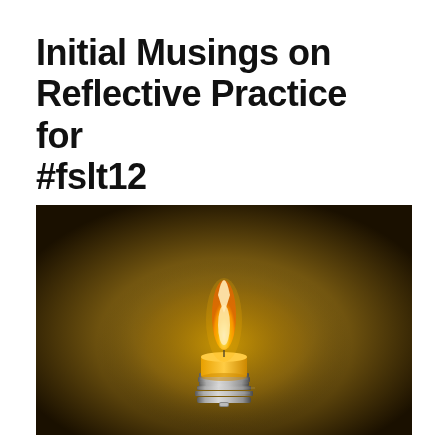Initial Musings on Reflective Practice for #fslt12
[Figure (photo): A glowing candle flame mounted on a light bulb base (Edison screw fitting), lit against a dark golden-brown gradient background. The flame is bright orange-yellow at the center fading to white at the tip, with warm yellow ambient glow radiating outward.]